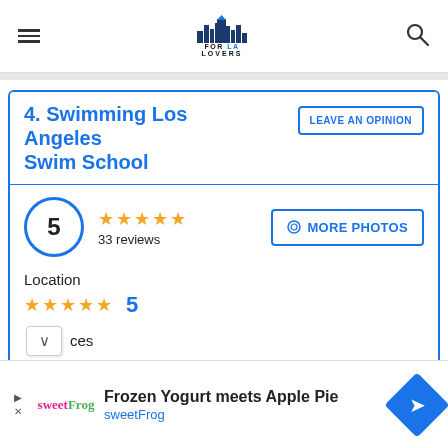FOR LA LOVERS
4. Swimming Los Angeles Swim School
LEAVE AN OPINION
5 — 33 reviews — ★★★★★
MORE PHOTOS
Location
★★★★★  5
ces
Frozen Yogurt meets Apple Pie
sweetFrog